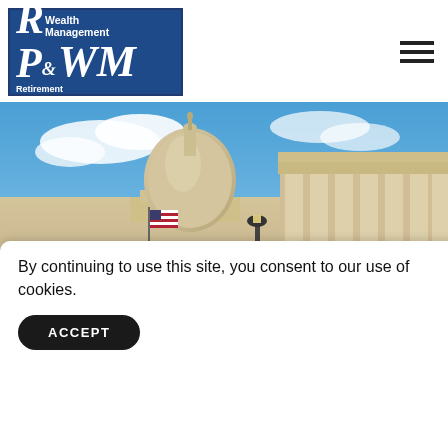[Figure (logo): RP & WM Retirement Planning & Wealth Management logo with dark blue background and italic serif text]
[Figure (photo): Photograph of the US Capitol building exterior with dome, columns, American flag, blue sky with clouds, sepia-toned architectural detail]
By continuing to use this site, you consent to our use of cookies.
ACCEPT